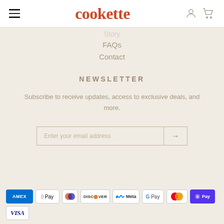cookette
Story
FAQs
Contact
NEWSLETTER
Subscribe to receive updates, access to exclusive deals, and more.
[Figure (other): Email subscription input field with arrow submit button]
[Figure (other): Payment method icons: AMEX, Apple Pay, Diners Club, Discover, Meta Pay, Google Pay, Mastercard, Shop Pay, VISA]